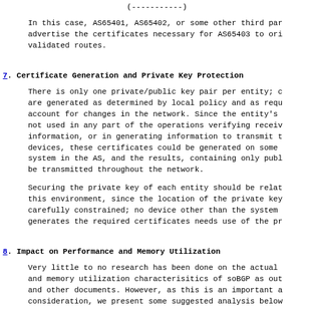(------------)
In this case, AS65401, AS65402, or some other third party must advertise the certificates necessary for AS65403 to originate validated routes.
7. Certificate Generation and Private Key Protection
There is only one private/public key pair per entity; certificates are generated as determined by local policy and as required to account for changes in the network. Since the entity's private key is not used in any part of the operations verifying received information, or in generating information to transmit to neighboring devices, these certificates could be generated on some dedicated system in the AS, and the results, containing only public keys, could be transmitted throughout the network.
Securing the private key of each entity should be relatively easy in this environment, since the location of the private key can be carefully constrained; no device other than the system that generates the required certificates needs use of the private key.
8. Impact on Performance and Memory Utilization
Very little to no research has been done on the actual performance and memory utilization characterisitics of soBGP as outlined here and other documents. However, as this is an important area of consideration, we present some suggested analysis below